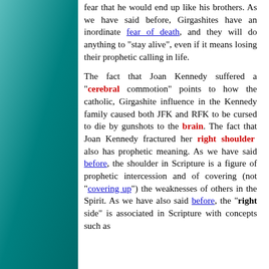fear that he would end up like his brothers. As we have said before, Girgashites have an inordinate fear of death, and they will do anything to "stay alive", even if it means losing their prophetic calling in life.

The fact that Joan Kennedy suffered a "cerebral commotion" points to how the catholic, Girgashite influence in the Kennedy family caused both JFK and RFK to be cursed to die by gunshots to the brain. The fact that Joan Kennedy fractured her right shoulder also has prophetic meaning. As we have said before, the shoulder in Scripture is a figure of prophetic intercession and of covering (not "covering up") the weaknesses of others in the Spirit. As we have also said before, the "right side" is associated in Scripture with concepts such as